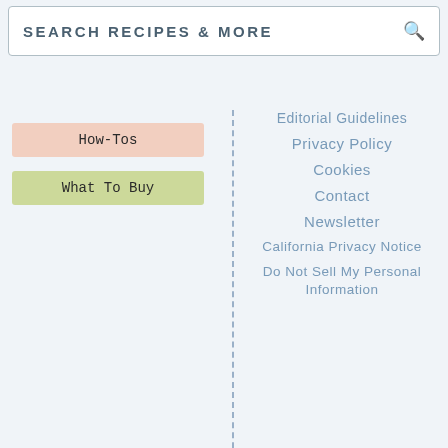SEARCH RECIPES & MORE
How-Tos
What To Buy
Editorial Guidelines
Privacy Policy
Cookies
Contact
Newsletter
California Privacy Notice
Do Not Sell My Personal Information
[Figure (logo): TRUSTe Privacy Feedback badge with green 'Powered by TRUSTe' bar]
Ad
[Figure (logo): Dotdash Meredith advertisement banner: 'We help people find answers, solve problems and get inspired.' with D logo and colorful Dotdash Meredith logo]